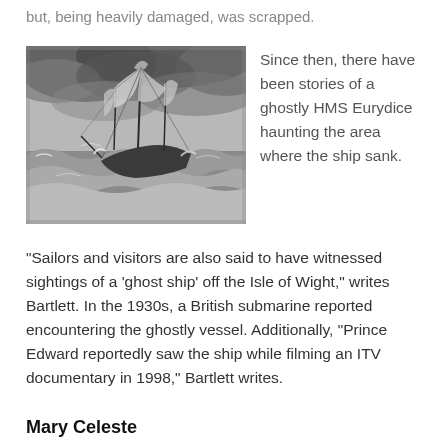but, being heavily damaged, was scrapped.
[Figure (illustration): A black and white engraving or painting of a sailing ship in a stormy sea with large waves and dark clouds.]
Since then, there have been stories of a ghostly HMS Eurydice haunting the area where the ship sank.
"Sailors and visitors are also said to have witnessed sightings of a 'ghost ship' off the Isle of Wight," writes Bartlett. In the 1930s, a British submarine reported encountering the ghostly vessel. Additionally, "Prince Edward reportedly saw the ship while filming an ITV documentary in 1998," Bartlett writes.
Mary Celeste